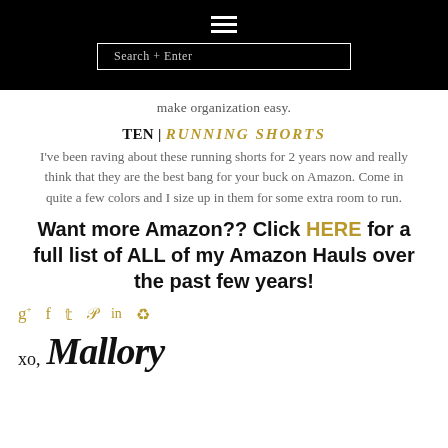Search + Enter
make organization easy.
TEN | RUNNING SHORTS
I've been raving about these running shorts for 2 years now and really think that they are the best bang for your buck on Amazon. Come in quite a few colors and I size up in them for some extra room to run.
Want more Amazon?? Click HERE for a full list of ALL of my Amazon Hauls over the past few years!
xo, Mallory